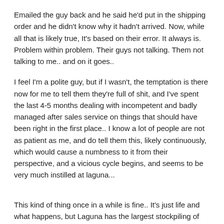Emailed the guy back and he said he'd put in the shipping order and he didn't know why it hadn't arrived. Now, while all that is likely true, It's based on their error. It always is. Problem within problem. Their guys not talking. Them not talking to me.. and on it goes..
I feel I'm a polite guy, but if I wasn't, the temptation is there now for me to tell them they're full of shit, and I've spent the last 4-5 months dealing with incompetent and badly managed after sales service on things that should have been right in the first place.. I know a lot of people are not as patient as me, and do tell them this, likely continuously, which would cause a numbness to it from their perspective, and a vicious cycle begins, and seems to be very much instilled at laguna...
This kind of thing once in a while is fine.. It's just life and what happens, but Laguna has the largest stockpiling of instances I've ever experienced, which culminates into a much much larger problem.